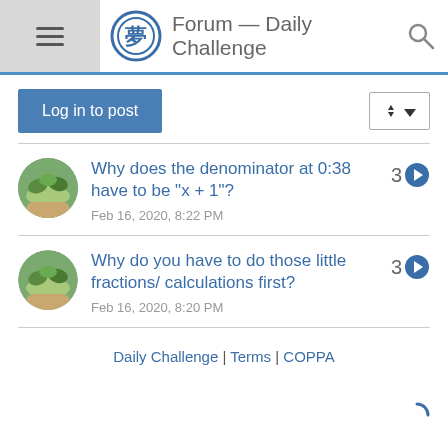Forum — Daily Challenge
Log in to post
Why does the denominator at 0:38 have to be "x + 1"?
Feb 16, 2020, 8:22 PM
Why do you have to do those little fractions/ calculations first?
Feb 16, 2020, 8:20 PM
Daily Challenge | Terms | COPPA